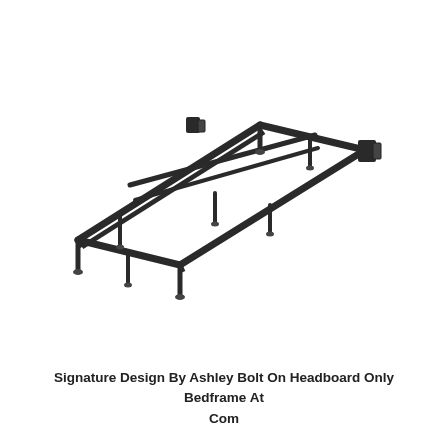[Figure (photo): A metal bed frame with bolt-on headboard brackets. The frame is rectangular, dark/black in color, with multiple adjustable legs and a center support rail. Shown in an isometric perspective view against a white background.]
Signature Design By Ashley Bolt On Headboard Only Bedframe At Com